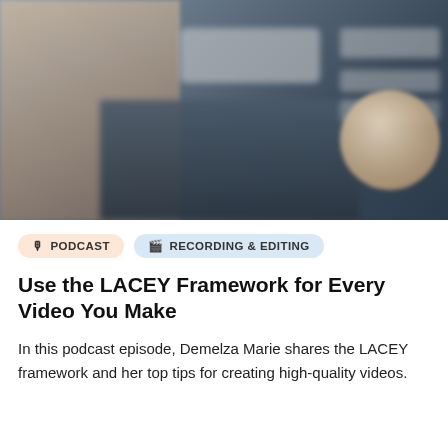[Figure (photo): Blurred thumbnail image showing two people, one on the left and one on the right side (circular crop), with blurred text overlays on a dark background in the center.]
PODCAST
RECORDING & EDITING
Use the LACEY Framework for Every Video You Make
In this podcast episode, Demelza Marie shares the LACEY framework and her top tips for creating high-quality videos.